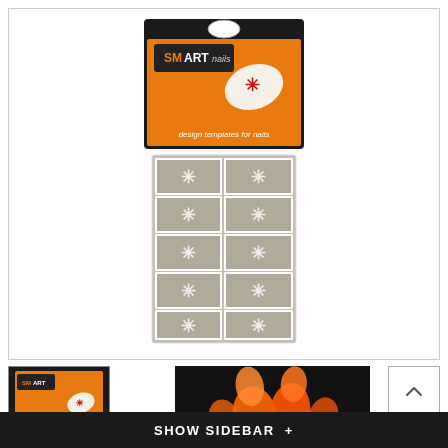[Figure (photo): SmartNails nail design template product packaging showing orange and black card with a nail design image, and a grey stencil sheet with 10 cells each containing a white asterisk/snowflake cutout pattern.]
[Figure (photo): Small thumbnail of SmartNails product packaging, dark background with orange accent.]
[Figure (photo): Secondary product image showing orange/glowing nail shapes on dark background.]
SHOW SIDEBAR +